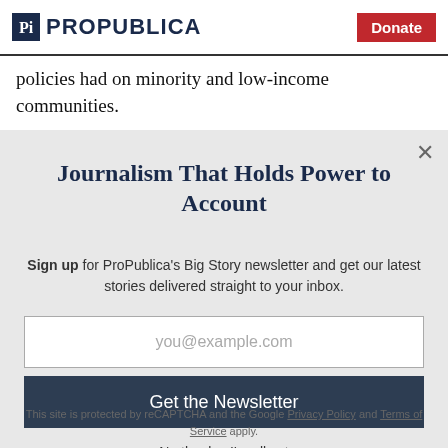ProPublica | Donate
policies had on minority and low-income communities.
Journalism That Holds Power to Account
Sign up for ProPublica's Big Story newsletter and get our latest stories delivered straight to your inbox.
you@example.com
Get the Newsletter
No thanks, I'm all set
This site is protected by reCAPTCHA and the Google Privacy Policy and Terms of Service apply.